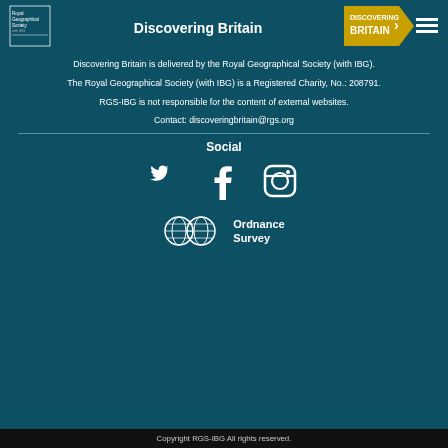Discovering Britain
[Figure (logo): Royal Geographical Society logo top left]
[Figure (logo): Discovering Britain pentagon logo]
[Figure (logo): Hamburger menu icon top right]
Discovering Britain is delivered by the Royal Geographical Society (with IBG).
The Royal Geographical Society (with IBG) is a Registered Charity, No.: 208791.
RGS-IBG is not responsible for the content of external websites.
Contact: discoveringbritain@rgs.org
Social
[Figure (illustration): Twitter, Facebook, and Instagram social media icons]
[Figure (logo): Ordnance Survey logo with globe icons and text]
Copyright RGS-IBG All rights reserved.